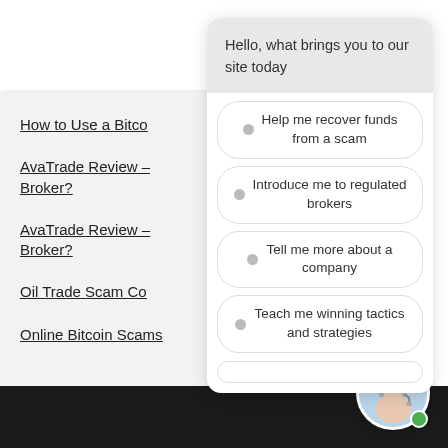[Figure (screenshot): Chat widget overlay showing a chatbot with options: 'Hello, what brings you to our site today', 'Help me recover funds from a scam', 'Introduce me to regulated brokers', 'Tell me more about a company', 'Teach me winning tactics and strategies']
How to Use a Bitcoin Recovery Service
AvaTrade Review – Is AvaTrade a Safe Broker?
AvaTrade Review – Is AvaTrade a Safe Broker?
Oil Trade Scam Companies
Online Bitcoin Scams